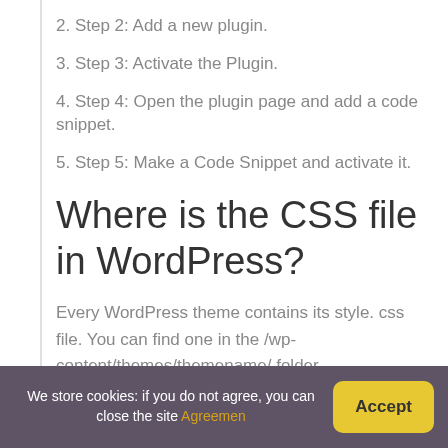2. Step 2: Add a new plugin.
3. Step 3: Activate the Plugin.
4. Step 4: Open the plugin page and add a code snippet.
5. Step 5: Make a Code Snippet and activate it.
Where is the CSS file in WordPress?
Every WordPress theme contains its style. css file. You can find one in the /wp-content/themes/themename/ folder.
How do I use custom
We store cookies: if you do not agree, you can close the site Agreemen